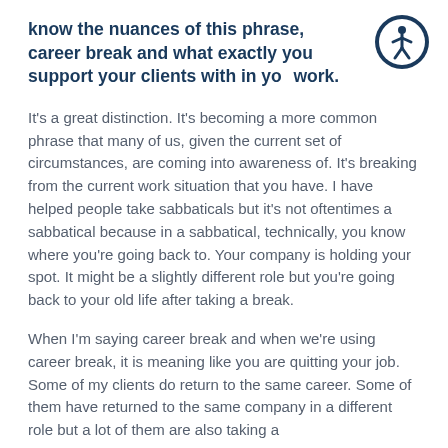know the nuances of this phrase, career break and what exactly you support your clients with in your work.
It's a great distinction. It's becoming a more common phrase that many of us, given the current set of circumstances, are coming into awareness of. It's breaking from the current work situation that you have. I have helped people take sabbaticals but it's not oftentimes a sabbatical because in a sabbatical, technically, you know where you're going back to. Your company is holding your spot. It might be a slightly different role but you're going back to your old life after taking a break.
When I'm saying career break and when we're using career break, it is meaning like you are quitting your job. Some of my clients do return to the same career. Some of them have returned to the same company in a different role but a lot of them are also taking a